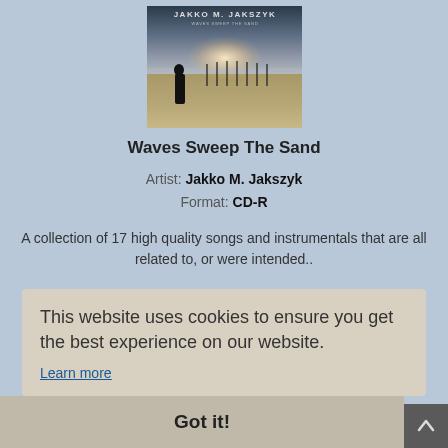[Figure (illustration): Album cover for 'Waves Sweep The Sand' by Jakko M. Jakszyk showing a silhouetted figure standing on a beach with a misty horizon and posts in the sand]
Waves Sweep The Sand
Artist: Jakko M. Jakszyk
Format: CD-R
A collection of 17 high quality songs and instrumentals that are all related to, or were intended..
This website uses cookies to ensure you get the best experience on our website.
Learn more
Got it!